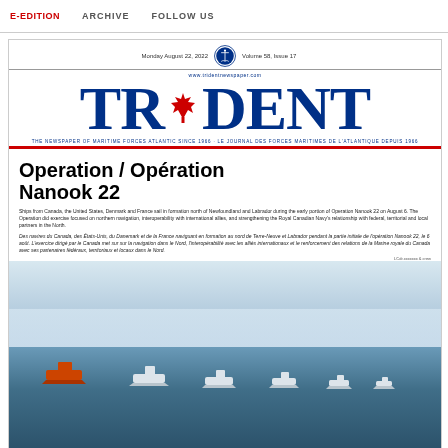E-EDITION    ARCHIVE    FOLLOW US
Monday August 22, 2022    Volume 58, Issue 17
TRIDENT
THE NEWSPAPER OF MARITIME FORCES ATLANTIC SINCE 1966 · LE JOURNAL DES FORCES MARITIMES DE L'ATLANTIQUE DEPUIS 1966
Operation / Opération Nanook 22
Ships from Canada, the United States, Denmark and France sail in formation north of Newfoundland and Labrador during the early portion of Operation Nanook 22 on August 6. The Operation did exercise focused on northern navigation, interoperability with international allies, and strengthening the Royal Canadian Navy's relationship with federal, territorial and local partners in the North.
Des navires du Canada, des États-Unis, du Danemark et de la France naviguant en formation au nord de Terre-Neuve et Labrador pendant la partie initiale de l'opération Nanook 22, le 6 août. L'exercice dirigé par le Canada met sur sur la navigation dans le Nord, l'interopérabilité avec les alliés internationaux et le renforcement des relations de la Marine royale du Canada avec ses partenaires fédéraux, territoriaux et locaux dans le Nord.
[Figure (photo): Ships from Canada, the United States, Denmark and France sailing in formation on open water north of Newfoundland and Labrador during Operation Nanook 22. Several naval vessels are seen in a line across calm blue ocean water with mountains and a pale sky in the background.]